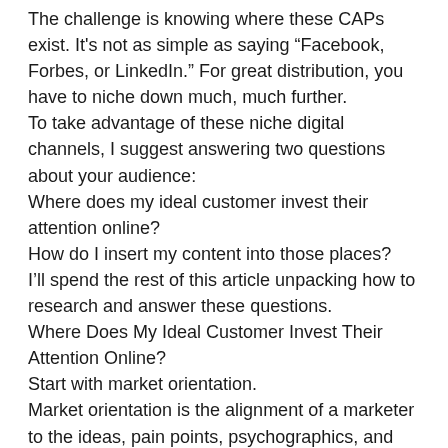The challenge is knowing where these CAPs exist. It's not as simple as saying “Facebook, Forbes, or LinkedIn.” For great distribution, you have to niche down much, much further.
To take advantage of these niche digital channels, I suggest answering two questions about your audience:
Where does my ideal customer invest their attention online?
How do I insert my content into those places?
I’ll spend the rest of this article unpacking how to research and answer these questions.
Where Does My Ideal Customer Invest Their Attention Online?
Start with market orientation.
Market orientation is the alignment of a marketer to the ideas, pain points, psychographics, and demographics of their target customer.
Many people make the mistake of using marketing tactics and messaging that appeal more to the marketer than to